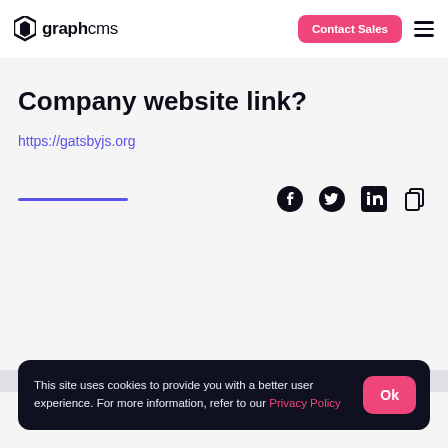graphcms | Contact Sales
Company website link?
https://gatsbyjs.org
[Figure (other): Social share icons: Facebook, Twitter, LinkedIn, Copy link]
This site uses cookies to provide you with a better user experience. For more information, refer to our Privacy Policy